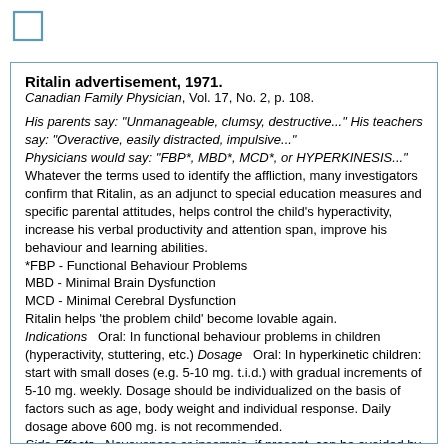[Figure (other): Small square checkbox outline in blue/teal color in top-left corner]
Ritalin advertisement, 1971.
Canadian Family Physician, Vol. 17, No. 2, p. 108.
His parents say: "Unmanageable, clumsy, destructive..." His teachers say: "Overactive, easily distracted, impulsive..."
Physicians would say: "FBP*, MBD*, MCD*, or HYPERKINESIS..."
Whatever the terms used to identify the affliction, many investigators confirm that Ritalin, as an adjunct to special education measures and specific parental attitudes, helps control the child's hyperactivity, increase his verbal productivity and attention span, improve his behaviour and learning abilities.
*FBP - Functional Behaviour Problems
MBD - Minimal Brain Dysfunction
MCD - Minimal Cerebral Dysfunction
Ritalin helps 'the problem child' become lovable again.
Indications   Oral: In functional behaviour problems in children (hyperactivity, stuttering, etc.) Dosage   Oral: In hyperkinetic children: start with small doses (e.g. 5-10 mg. t.i.d.) with gradual increments of 5-10 mg. weekly. Dosage should be individualized on the basis of factors such as age, body weight and individual response. Daily dosage above 600 mg. is not recommended.
Side Effects   Nevousness or insomnia, if present, can be avoided by dosage-reduction or by omitting Ritalin in the afternoon. Reports note a